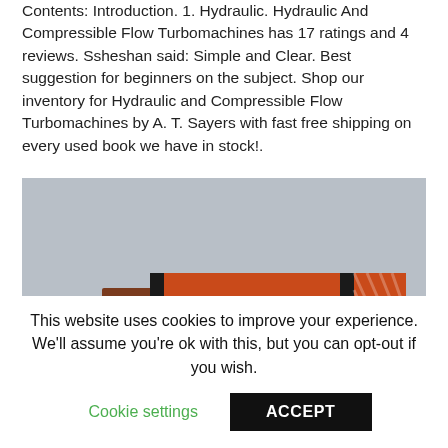Contents: Introduction. 1. Hydraulic. Hydraulic And Compressible Flow Turbomachines has 17 ratings and 4 reviews. Ssheshan said: Simple and Clear. Best suggestion for beginners on the subject. Shop our inventory for Hydraulic and Compressible Flow Turbomachines by A. T. Sayers with fast free shipping on every used book we have in stock!.
[Figure (photo): Photo of a book spine showing 'HYDRAULIC AND COMPRESSIBLE FLOW' text in white on an orange/red background with black border stripe, placed on a light gray textured surface.]
This website uses cookies to improve your experience. We'll assume you're ok with this, but you can opt-out if you wish.